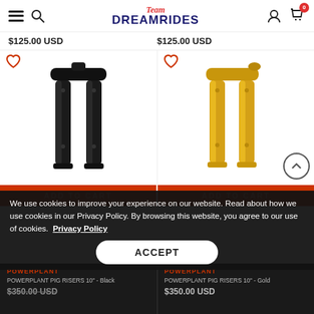Team DREAMRIDES
$125.00 USD
$125.00 USD
[Figure (photo): Black motorcycle handlebar risers (10 inch, pig risers) from Powerplant brand]
[Figure (photo): Gold/anodized motorcycle handlebar risers (10 inch, pig risers) from Powerplant brand]
ADD TO CART
ADD TO CART
We use cookies to improve your experience on our website. Read about how we use cookies in our Privacy Policy. By browsing this website, you agree to our use of cookies. Privacy Policy
ACCEPT
POWERPLANT
POWERPLANT PIG RISERS 10" - Black
$350.00 USD
POWERPLANT
POWERPLANT PIG RISERS 10" - Gold
$350.00 USD